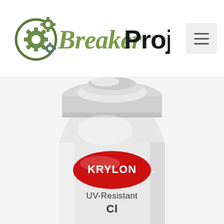[Figure (logo): BreakerProject website logo with gear icons and stylized text]
[Figure (photo): Krylon UV-Resistant Clear spray can, showing the top cap and upper body of the can with the red Krylon oval logo and text reading UV-Resistant Cl... (partially cut off at bottom)]